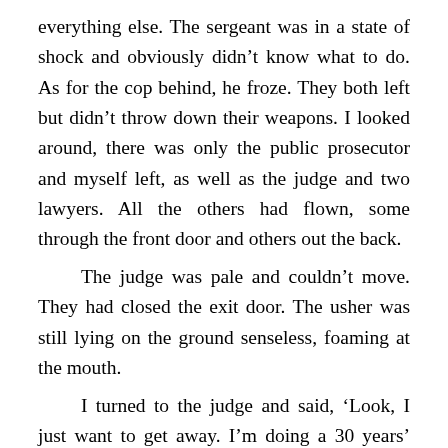everything else. The sergeant was in a state of shock and obviously didn't know what to do. As for the cop behind, he froze. They both left but didn't throw down their weapons. I looked around, there was only the public prosecutor and myself left, as well as the judge and two lawyers. All the others had flown, some through the front door and others out the back.
	The judge was pale and couldn't move. They had closed the exit door. The usher was still lying on the ground senseless, foaming at the mouth.
	I turned to the judge and said, 'Look, I just want to get away. I'm doing a 30 years' sentence and I'd rather die than go back to